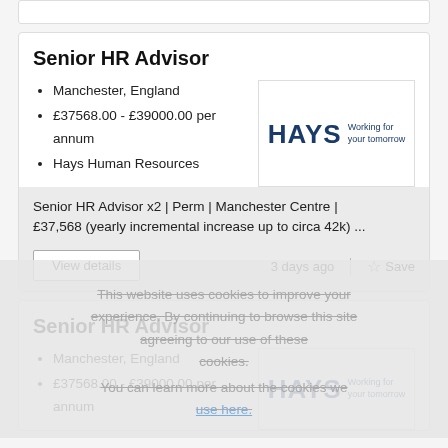Senior HR Advisor
Manchester, England
£37568.00 - £39000.00 per annum
Hays Human Resources
[Figure (logo): Hays logo with tagline 'Working for your tomorrow']
Senior HR Advisor x2 | Perm | Manchester Centre | £37,568 (yearly incremental increase up to circa 42k) ...
View details
3 days ago
Save
This website uses cookies to improve your experience. By continuing to browse this site agreeing to our use of these cookies.
You can learn more about the cookies we use here.
Senior HR Advisor
Manchester, England
£37568.00 - £39000.00 per annum
[Figure (logo): Hays logo with tagline 'Working for your tomorrow']